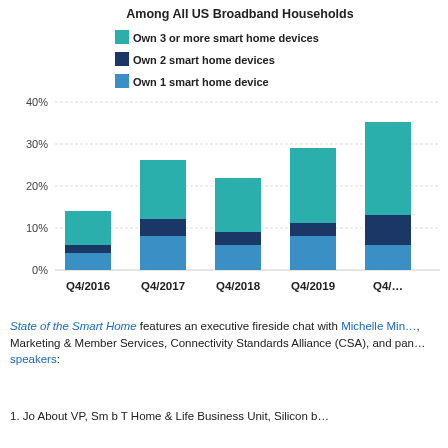[Figure (stacked-bar-chart): Number of Smart Home Devices Owned Among All US Broadband Households]
State of the Smart Home features an executive fireside chat with Michelle Min…, Marketing & Member Services, Connectivity Standards Alliance (CSA), and pan… speakers:
1. Jo About VP, Sm b T Home & Life Business Unit, Silicon b…